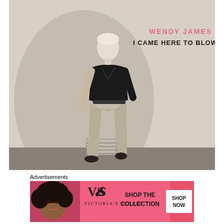[Figure (photo): Album cover for Wendy James 'I Came Here To Blow Minds'. A black and white photo of a slim woman with short platinum blonde hair wearing a black sleeveless top and light-colored jeans, standing against a plain white wall. Text overlay in upper right: 'WENDY JAMES' in pink and 'I CAME HERE TO BLOW MINDS' in dark serif font.]
Advertisements
[Figure (photo): Victoria's Secret advertisement banner. Pink background with woman with curly hair on left, Victoria's Secret logo (VS) in center with brand name below, text 'SHOP THE COLLECTION' on right, and a white button 'SHOP NOW'.]